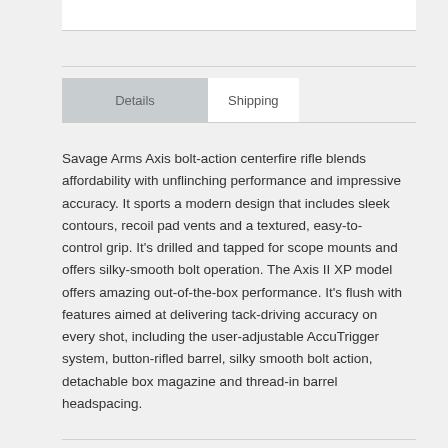Details	Shipping
Savage Arms Axis bolt-action centerfire rifle blends affordability with unflinching performance and impressive accuracy. It sports a modern design that includes sleek contours, recoil pad vents and a textured, easy-to-control grip. It's drilled and tapped for scope mounts and offers silky-smooth bolt operation. The Axis II XP model offers amazing out-of-the-box performance. It's flush with features aimed at delivering tack-driving accuracy on every shot, including the user-adjustable AccuTrigger system, button-rifled barrel, silky smooth bolt action, detachable box magazine and thread-in barrel headspacing.